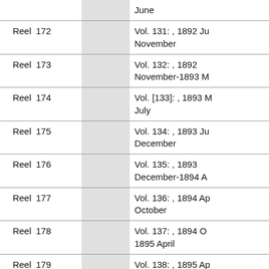|  |  |  |  |
| --- | --- | --- | --- |
|  |  |  | June |
| Reel | 172 |  | Vol. 131: , 1892 June-November |
| Reel | 173 |  | Vol. 132: , 1892 November-1893 M |
| Reel | 174 |  | Vol. [133]: , 1893 M-July |
| Reel | 175 |  | Vol. 134: , 1893 July-December |
| Reel | 176 |  | Vol. 135: , 1893 December-1894 A |
| Reel | 177 |  | Vol. 136: , 1894 April-October |
| Reel | 178 |  | Vol. 137: , 1894 October-1895 April |
| Reel | 179 |  | Vol. 138: , 1895 April-1896 February |
| Reel | 180 |  | Vol. 139: , 1896 February-May |
| Reel | 181 |  | Vol. 140: , 1896 May-September |